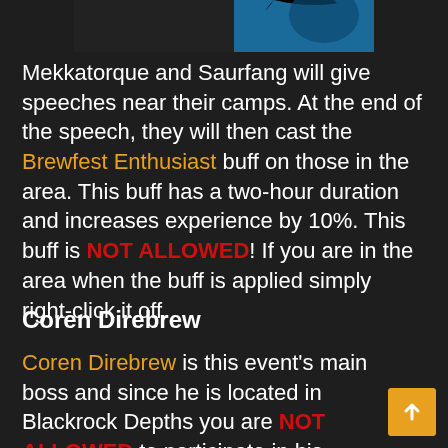[Figure (photo): Partial image visible at top of page, appears to show a character in blue tones against dark background]
Mekkatorque and Saurfang will give speeches near their camps. At the end of the speech, they will then cast the Brewfest Enthusiast buff on those in the area. This buff has a two-hour duration and increases experience by 10%. This buff is NOT ALLOWED! If you are in the area when the buff is applied simply right-click it off.
Coren Direbrew
Coren Direbrew is this event's main boss and since he is located in Blackrock Depths you are NOT ALLOWED to participate in his slaying.